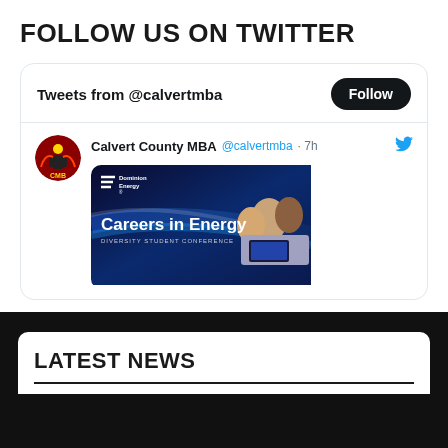FOLLOW US ON TWITTER
[Figure (screenshot): Twitter widget showing Tweets from @calvertmba with a Follow button, and a tweet from Calvert County MBA @calvertmba 7h ago featuring a Dominion Energy Careers in Energy Diversity Student Conference banner image with students looking at a laptop.]
LATEST NEWS